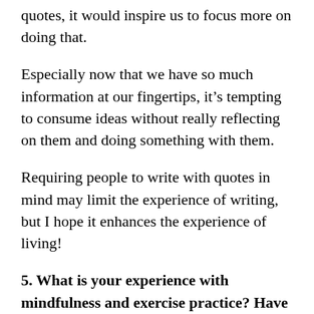quotes, it would inspire us to focus more on doing that.
Especially now that we have so much information at our fingertips, it's tempting to consume ideas without really reflecting on them and doing something with them.
Requiring people to write with quotes in mind may limit the experience of writing, but I hope it enhances the experience of living!
5. What is your experience with mindfulness and exercise practice? Have either or both taught you any valuable lessons?
Both have taught me valuable lessons. Mindfulness has taught me that I truly can “start over” at any time.